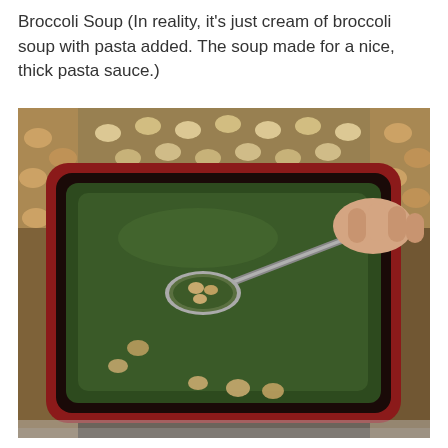Broccoli Soup (In reality, it's just cream of broccoli soup with pasta added. The soup made for a nice, thick pasta sauce.)
[Figure (photo): A red square bowl filled with dark green broccoli soup. A silver spoon held by a hand scoops up some pasta pieces from the thick green soup. Small pasta shells are visible both in the soup and scattered on a wicker/rattan mat in the background.]